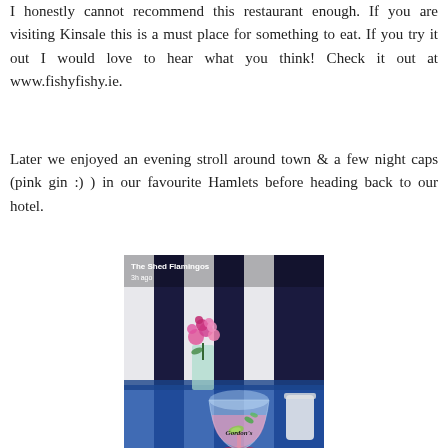I honestly cannot recommend this restaurant enough. If you are visiting Kinsale this is a must place for something to eat. If you try it out I would love to hear what you think! Check it out at www.fishyfishy.ie.
Later we enjoyed an evening stroll around town & a few night caps (pink gin :) ) in our favourite Hamlets before heading back to our hotel.
[Figure (photo): A photo showing a Gordon's gin glass on a blue table with a vase of pink flowers, with a striped navy and white background. Snapchat-style overlay text reads 'The Shed Flamingos' and '3h ago'.]